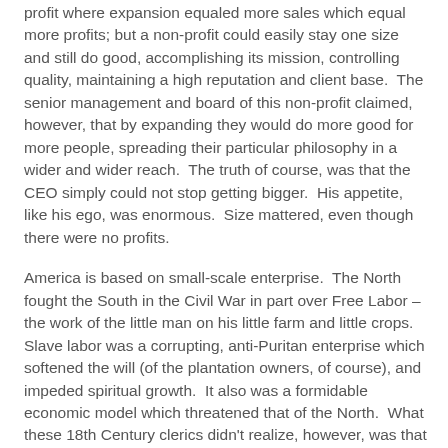profit where expansion equaled more sales which equal more profits; but a non-profit could easily stay one size and still do good, accomplishing its mission, controlling quality, maintaining a high reputation and client base.  The senior management and board of this non-profit claimed, however, that by expanding they would do more good for more people, spreading their particular philosophy in a wider and wider reach.  The truth of course, was that the CEO simply could not stop getting bigger.  His appetite, like his ego, was enormous.  Size mattered, even though there were no profits.
America is based on small-scale enterprise.  The North fought the South in the Civil War in part over Free Labor – the work of the little man on his little farm and little crops.  Slave labor was a corrupting, anti-Puritan enterprise which softened the will (of the plantation owners, of course), and impeded spiritual growth.  It also was a formidable economic model which threatened that of the North.  What these 18th Century clerics didn't realize, however, was that small-scale anything never lasts.  You are small until you are profitable, then a bigger something buys you up at an attractive price, allowing that something to realize economies of scale, now